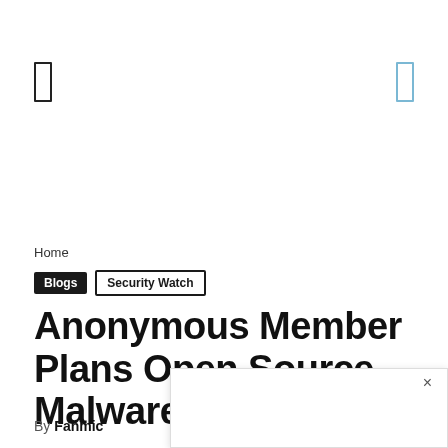[Figure (other): Left navigation icon — a thin vertical rectangle outline in dark color]
[Figure (other): Right navigation icon — a thin vertical rectangle outline in light blue color]
Home
Blogs  Security Watch
Anonymous Member Plans Open Source Malware, Auto
By Fahmic